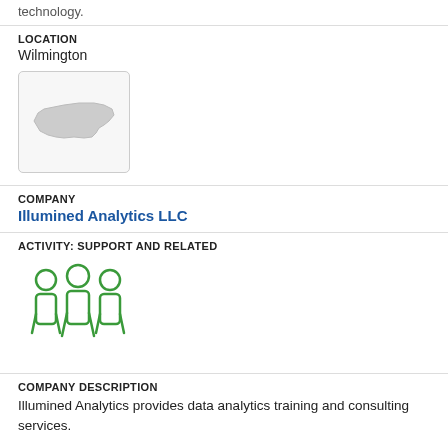technology.
LOCATION
Wilmington
[Figure (map): Small map icon showing the outline of North Carolina state in light gray]
COMPANY
Illumined Analytics LLC
ACTIVITY: SUPPORT AND RELATED
[Figure (illustration): Green icon showing three people/team members standing together]
COMPANY DESCRIPTION
Illumined Analytics provides data analytics training and consulting services.